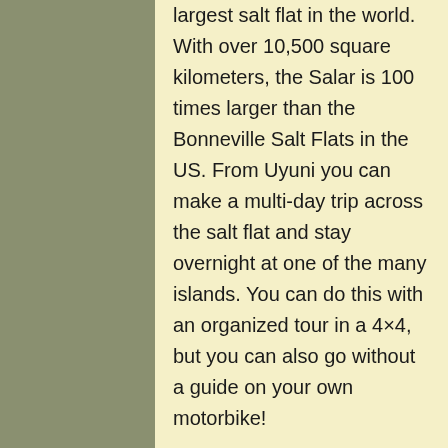largest salt flat in the world. With over 10,500 square kilometers, the Salar is 100 times larger than the Bonneville Salt Flats in the US. From Uyuni you can make a multi-day trip across the salt flat and stay overnight at one of the many islands. You can do this with an organized tour in a 4×4, but you can also go without a guide on your own motorbike!
We have had a day to relax after the Lagunas Route and are ready for some new adventures! After seeing shots of the Dakar Rally riders racing across the salt flats and the filmclip by motorcycle traveller Sjaak Lucassen,